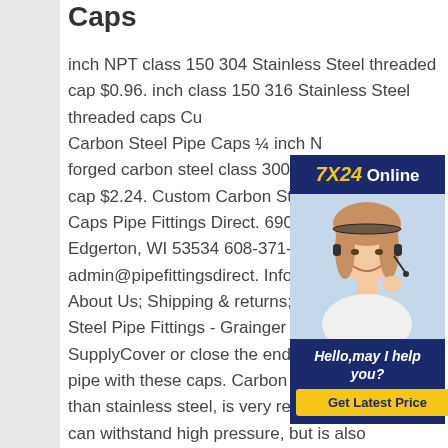Caps
inch NPT class 150 304 Stainless Steel threaded cap $0.96. inch class 150 316 Stainless Steel threaded caps Cu Carbon Steel Pipe Caps ¼ inch N forged carbon steel class 3000 th cap $2.24. Custom Carbon Steel Caps Pipe Fittings Direct. 690 Cr Edgerton, WI 53534 608-371-931 admin@pipefittingsdirect. Informa About Us; Shipping & returns;6" C Steel Pipe Fittings - Grainger Indu SupplyCover or close the end of a carbon steel pipe with these caps. Carbon steel is stronger than stainless steel, is very resistant to wear, and can withstand high pressure, but is also susceptible to corrosion. Brands. Threaded Raise Face. Previously Purchased. Those threaded
[Figure (other): Customer service chat widget with a photo of a woman wearing a headset, '7X24 Online' header in navy/gold, and a 'Get Latest Price' button. Text reads 'Hello,may I help you?']